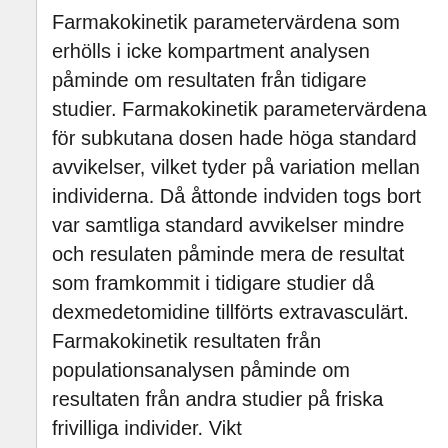Farmakokinetik parametervärdena som erhölls i icke kompartment analysen påminde om resultaten från tidigare studier. Farmakokinetik parametervärdena för subkutana dosen hade höga standard avvikelser, vilket tyder på variation mellan individerna. Då åttonde indviden togs bort var samtliga standard avvikelser mindre och resulaten påminde mera de resultat som framkommit i tidigare studier då dexmedetomidine tillförts extravasculärt. Farmakokinetik resultaten från populationsanalysen påminde om resultaten från andra studier på friska frivilliga individer. Vikt